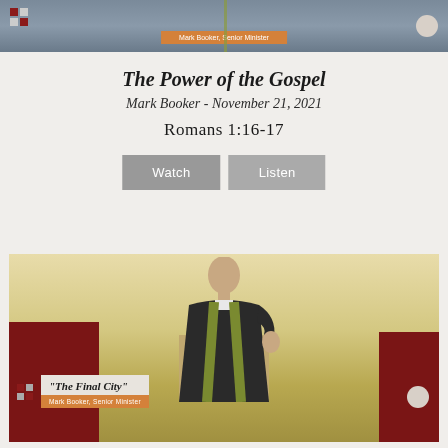[Figure (photo): Top cropped image of a minister at a pulpit with an orange badge overlay reading 'Mark Booker, Senior Minister']
The Power of the Gospel
Mark Booker - November 21, 2021
Romans 1:16-17
Watch   Listen
[Figure (photo): Photo of Mark Booker, Senior Minister, at a pulpit in black robes with green stole, in front of red wooden panels. Overlay badge reads 'The Final City' and 'Mark Booker, Senior Minister']
The Final City